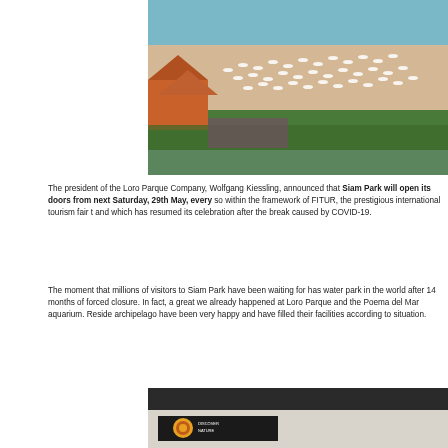[Figure (photo): Aerial view of a crowded beach with white umbrellas, sun loungers, turquoise water, and green trees, with orange-roofed buildings visible on the left side]
The president of the Loro Parque Company, Wolfgang Kiessling, announced that Siam Park will open its doors from next Saturday, 29th May, every so within the framework of FITUR, the prestigious international tourism fair and which has resumed its celebration after the break caused by COVID-19.
The moment that millions of visitors to Siam Park have been waiting for has water park in the world after 14 months of forced closure. In fact, a great we already happened at Loro Parque and the Poema del Mar aquarium. Reside archipelago have been very happy and have filled their facilities according to situation.
[Figure (photo): Interior/exterior of a building with dark signage showing a circular logo with text 'DISCOVER NATURE']